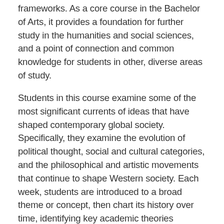frameworks. As a core course in the Bachelor of Arts, it provides a foundation for further study in the humanities and social sciences, and a point of connection and common knowledge for students in other, diverse areas of study.
Students in this course examine some of the most significant currents of ideas that have shaped contemporary global society. Specifically, they examine the evolution of political thought, social and cultural categories, and the philosophical and artistic movements that continue to shape Western society. Each week, students are introduced to a broad theme or concept, then chart its history over time, identifying key academic theories pertinent to it. They then apply this knowledge to various disciplinary contexts in order to articulate different perspectives in and solutions to complex problems.
Course learning outcomes
On completion of this course, students should be able to: